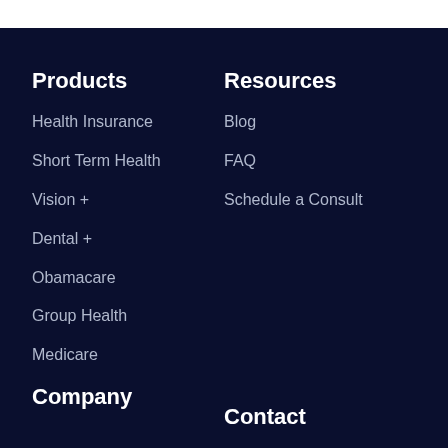Products
Health Insurance
Short Term Health
Vision +
Dental +
Obamacare
Group Health
Medicare
Company
Resources
Blog
FAQ
Schedule a Consult
Contact